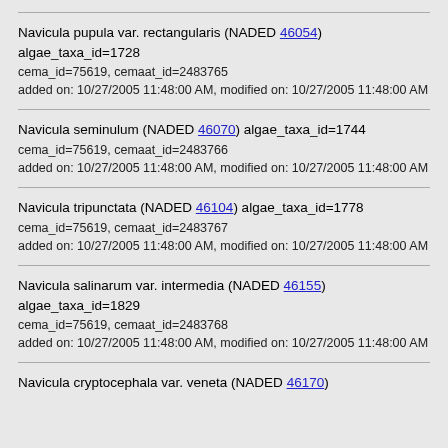Navicula pupula var. rectangularis (NADED 46054) algae_taxa_id=1728
cema_id=75619, cemaat_id=2483765
added on: 10/27/2005 11:48:00 AM, modified on: 10/27/2005 11:48:00 AM
Navicula seminulum (NADED 46070) algae_taxa_id=1744
cema_id=75619, cemaat_id=2483766
added on: 10/27/2005 11:48:00 AM, modified on: 10/27/2005 11:48:00 AM
Navicula tripunctata (NADED 46104) algae_taxa_id=1778
cema_id=75619, cemaat_id=2483767
added on: 10/27/2005 11:48:00 AM, modified on: 10/27/2005 11:48:00 AM
Navicula salinarum var. intermedia (NADED 46155) algae_taxa_id=1829
cema_id=75619, cemaat_id=2483768
added on: 10/27/2005 11:48:00 AM, modified on: 10/27/2005 11:48:00 AM
Navicula cryptocephala var. veneta (NADED 46170)